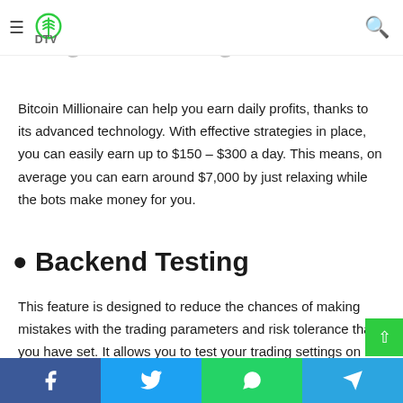DTV — navigation bar with hamburger menu and search icon
as long as it has a stable internet connection.
Regular Earnings
Bitcoin Millionaire can help you earn daily profits, thanks to its advanced technology. With effective strategies in place, you can easily earn up to $150 – $300 a day. This means, on average you can earn around $7,000 by just relaxing while the bots make money for you.
Backend Testing
This feature is designed to reduce the chances of making mistakes with the trading parameters and risk tolerance that you have set. It allows you to test your trading settings on already collected past historic data so it gives
Social sharing bar: Facebook, Twitter, WhatsApp, Telegram